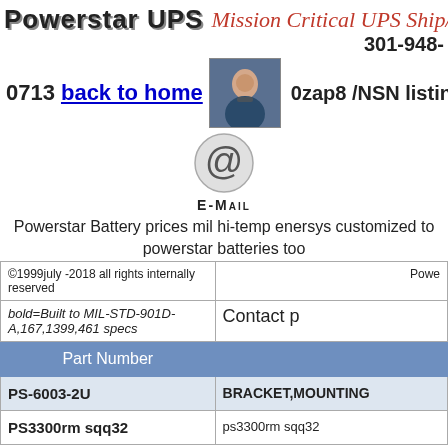POWERSTAR UPS  Mission Critical UPS Ship/Humvee  301-948-
[Figure (photo): Photo of a woman with headset, customer service representative]
0713   back to home   0zap8 /NSN listings
[Figure (logo): Email icon - @ symbol in circular design]
E-Mail
Powerstar Battery prices mil hi-temp enersys customized to powerstar batteries too
| Part Number |  |
| --- | --- |
| ©1999july -2018 all rights internally reserved | Powe |
| bold=Built to MIL-STD-901D-A,167,1399,461 specs | Contact p |
| PS-6003-2U | BRACKET,MOUNTING |
| PS3300rm sqq32 | ps3300rm sqq32 |